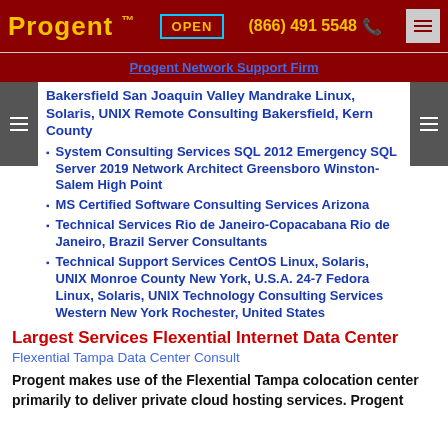Progent™ OPEN (866) 491 5548
Progent Network Support Firm
Bakersfield San Joaquin Valley Mandrake Linux, Solaris, UNIX Remote Consulting Bakersfield, Kern County
System Consulting Services SQL 2012 Emergency SQL Server 2019 Network Architect Greensboro Winston-Salem High Point
MS Certified Software Consulting Services Arizona
Technical Services Rio de Janeiro-Copacabana Rio de Janeiro, Brazil Server Consultants
Technical Support Services CentOS Linux, Solaris, UNIX Monroe County New York, U.S.A. 24-7 Fedora Linux, Solaris, UNIX Technology Consulting Services Western New York Rochester, United States
Largest Services Flexential Internet Data Center
Flexential Tampa Data Center Consult
Progent makes use of the Flexential Tampa colocation center primarily to deliver private cloud hosting services. Progent